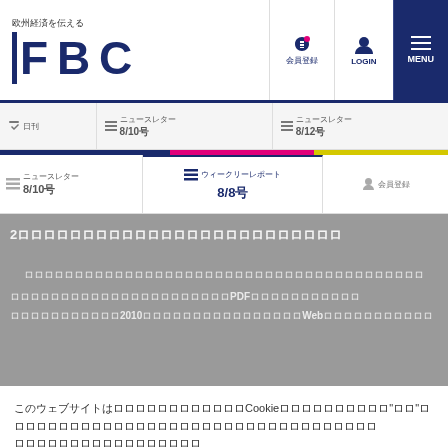欧州経済を伝える FBC — navigation header with LOGIN and MENU
ニュースレター 8/10号　ニュースレター 8/12号
ニュースレター 8/10号　ウィークリーレポート 8/8号　会員登録
[Figure (screenshot): Blurred/greyed content area with Japanese text lines and article preview mentioning PDF and 2010 and Web]
このウェブサイトはCookieを使用しています。"同意"をクリックすると、クッキーの使用に同意したことになります。このウェブサイトを引き続きご利用ください。
プライバシーポリシー　Cookie設定　同意